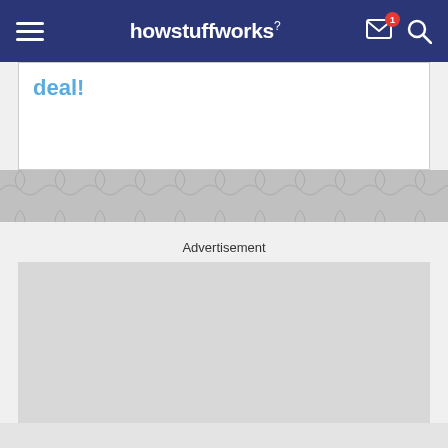howstuffworks
deal!
Advertisement
[Figure (other): Gray advertisement placeholder box]